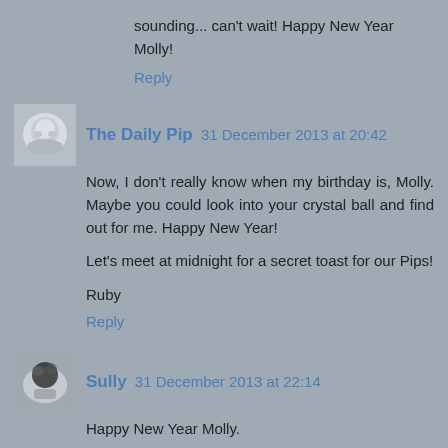sounding... can't wait! Happy New Year Molly!
Reply
The Daily Pip  31 December 2013 at 20:42
Now, I don't really know when my birthday is, Molly. Maybe you could look into your crystal ball and find out for me. Happy New Year!

Let's meet at midnight for a secret toast for our Pips!

Ruby
Reply
Sully  31 December 2013 at 22:14
Happy New Year Molly.

Aroo to you,
Sully